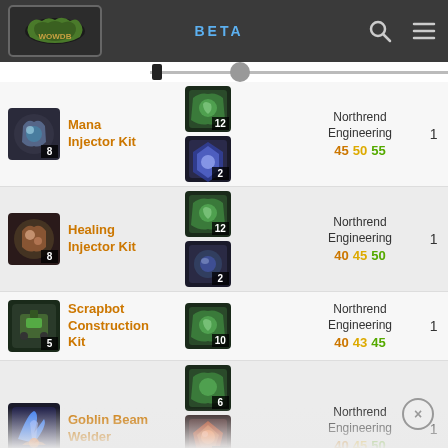WOWDB BETA
| Item | Materials |  | Skill | Qty |
| --- | --- | --- | --- | --- |
| Mana Injector Kit (8) | 12 + 2 |  | Northrend Engineering 45 50 55 | 1 |
| Healing Injector Kit (8) | 12 + 2 |  | Northrend Engineering 40 45 50 | 1 |
| Scrapbot Construction Kit (5) | 10 |  | Northrend Engineering 40 43 45 | 1 |
| Goblin Beam Welder | 6 + 3 + 3 |  | Northrend Engineering 40 45 50 | 1 |
| Mind ... |  |  | Northrend ... |  |